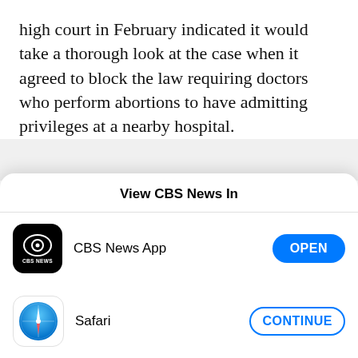high court in February indicated it would take a thorough look at the case when it agreed to block the law requiring doctors who perform abortions to have admitting privileges at a nearby hospital.
The Supreme Court's announcement drew a swift reaction from abortion rights groups.
[Figure (screenshot): Modal dialog titled 'View CBS News In' with two rows: CBS News App with an OPEN button, and Safari with a CONTINUE button.]